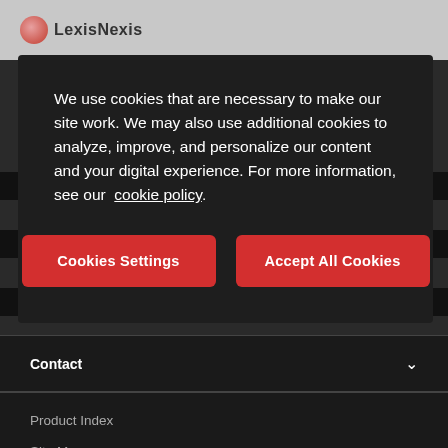[Figure (screenshot): LexisNexis website navigation bar with logo]
We use cookies that are necessary to make our site work. We may also use additional cookies to analyze, improve, and personalize our content and your digital experience. For more information, see our cookie policy.
Cookies Settings
Accept All Cookies
Contact
Product Index
Site Map